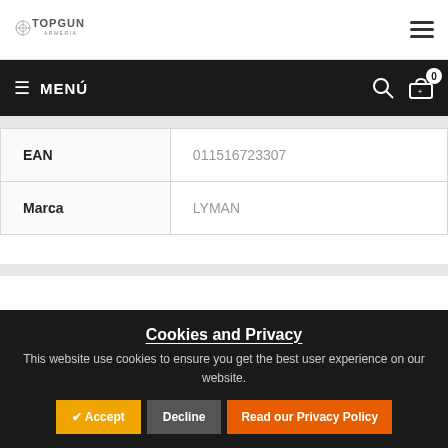[Figure (logo): Topgun Armeria logo in metallic/silver style lettering]
MENÚ
| Field | Value |
| --- | --- |
| EAN | 011516723307 |
| Marca | LYMAN |
Cookies and Privacy
This website use cookies to ensure you get the best user experience on our website.
✔ Accept   Decline   Read our Privacy Policy